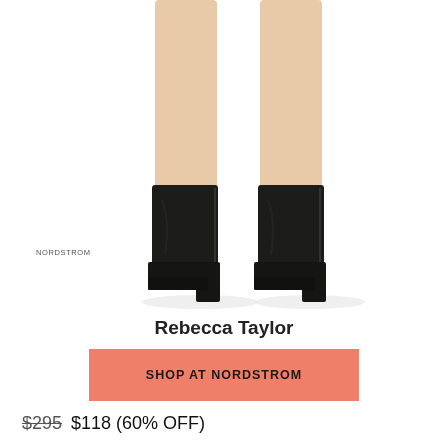[Figure (photo): Woman's legs wearing black leather ankle boots with block heels, shown against white background. Nordstrom watermark visible on left side of image.]
Rebecca Taylor
SHOP AT NORDSTROM
$295 $118 (60% OFF)